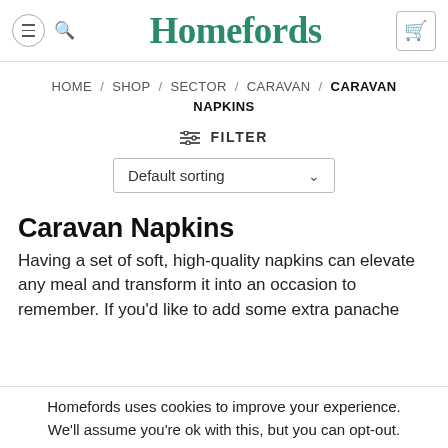Homefords
HOME / SHOP / SECTOR / CARAVAN / CARAVAN NAPKINS
≡ FILTER
Default sorting
Caravan Napkins
Having a set of soft, high-quality napkins can elevate any meal and transform it into an occasion to remember. If you'd like to add some extra panache
Homefords uses cookies to improve your experience. We'll assume you're ok with this, but you can opt-out.